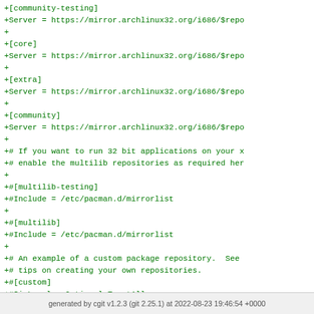+[community-testing]
+Server = https://mirror.archlinux32.org/i686/$repo
+
+[core]
+Server = https://mirror.archlinux32.org/i686/$repo
+
+[extra]
+Server = https://mirror.archlinux32.org/i686/$repo
+
+[community]
+Server = https://mirror.archlinux32.org/i686/$repo
+
+# If you want to run 32 bit applications on your x
+# enable the multilib repositories as required her
+
+#[multilib-testing]
+#Include = /etc/pacman.d/mirrorlist
+
+#[multilib]
+#Include = /etc/pacman.d/mirrorlist
+
+# An example of a custom package repository.  See
+# tips on creating your own repositories.
+#[custom]
+#SigLevel = Optional TrustAll
+#Server = file:///home/custompkgs
generated by cgit v1.2.3 (git 2.25.1) at 2022-08-23 19:46:54 +0000